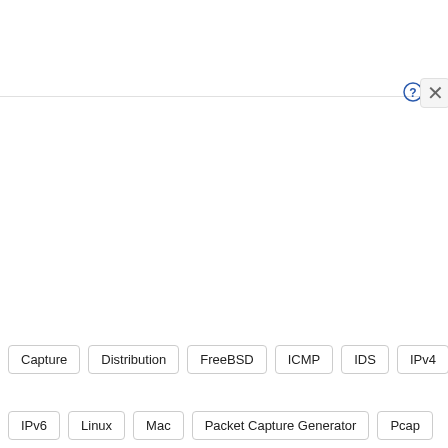[Figure (screenshot): UI panel showing a horizontal rule with help (?) and close (X) icons on the right side, followed by tag/label pills at the bottom]
Capture
Distribution
FreeBSD
ICMP
IDS
IPv4
IPv6
Linux
Mac
Packet Capture Generator
Pcap